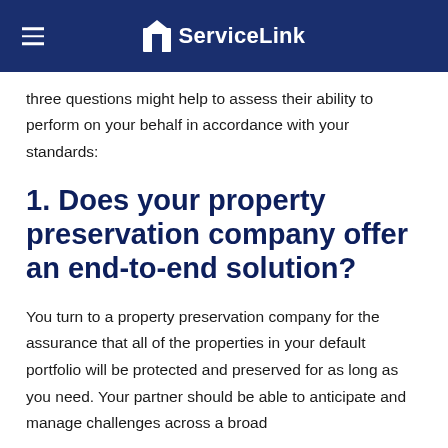ServiceLink
three questions might help to assess their ability to perform on your behalf in accordance with your standards:
1. Does your property preservation company offer an end-to-end solution?
You turn to a property preservation company for the assurance that all of the properties in your default portfolio will be protected and preserved for as long as you need. Your partner should be able to anticipate and manage challenges across a broad